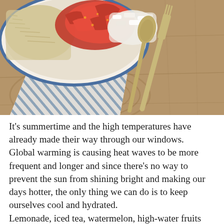[Figure (photo): Overhead view of a bowl of grain salad with red peppers and feta cheese on a wooden table, with a blue-striped napkin and silver fork and spoon beside it.]
It's summertime and the high temperatures have already made their way through our windows. Global warming is causing heat waves to be more frequent and longer and since there's no way to prevent the sun from shining bright and making our days hotter, the only thing we can do is to keep ourselves cool and hydrated. Lemonade, iced tea, watermelon, high-water fruits and vegetables, all combined together can help you face a